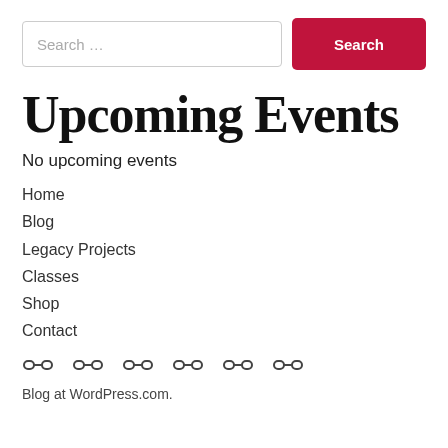Search ...
Upcoming Events
No upcoming events
Home
Blog
Legacy Projects
Classes
Shop
Contact
[Figure (other): Six link/chain social media icons in a row]
Blog at WordPress.com.